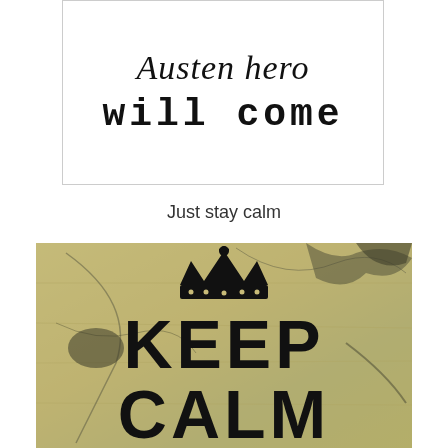[Figure (illustration): White rectangular image with stylized script text at top (partially visible, reading 'Austen hero') and bold typewriter-style text below reading 'will come']
Just stay calm
[Figure (illustration): Vintage distressed background with floral wallpaper pattern in muted olive/tan tones with dark scratches and streaks. A black crown icon at top center. Bold black text reads 'KEEP CALM' and partially visible 'AND REA...' at bottom.]